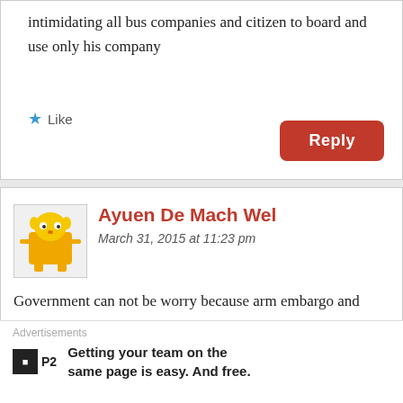intimidating all bus companies and citizen to board and use only his company
★ Like
Reply
Ayuen De Mach Wel
March 31, 2015 at 11:23 pm
[Figure (illustration): Avatar cartoon illustration of a yellow character]
Government can not be worry because arm embargo and sanction will not let the rebel to defeated gov,t even rebel will be affected by sanction.
Advertisements
P2 Getting your team on the same page is easy. And free.